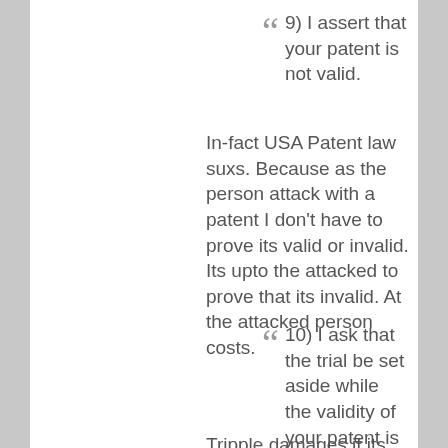9) I assert that your patent is not valid.
In-fact USA Patent law suxs. Because as the person attack with a patent I don't have to prove its valid or invalid. Its upto the attacked to prove that its invalid. At the attacked person costs.
10) I ask that the trial be set aside while the validity of your patent is determined
Tripple damages if its